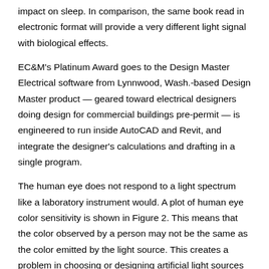impact on sleep. In comparison, the same book read in electronic format will provide a very different light signal with biological effects.
EC&M's Platinum Award goes to the Design Master Electrical software from Lynnwood, Wash.-based Design Master product — geared toward electrical designers doing design for commercial buildings pre-permit — is engineered to run inside AutoCAD and Revit, and integrate the designer's calculations and drafting in a single program.
The human eye does not respond to a light spectrum like a laboratory instrument would. A plot of human eye color sensitivity is shown in Figure 2. This means that the color observed by a person may not be the same as the color emitted by the light source. This creates a problem in choosing or designing artificial light sources since.
The human eye is sensitive to all of the radiation in the electromagnetic spectrum, especially if that radiation is at very high levels of intensity.
Exposure to intense electromagnetic radiation, including infrared radiation, can damage the lens and cornea of the eye. This is one